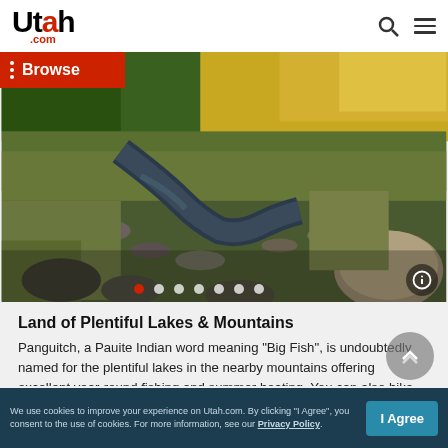Utah.com — Browse
[Figure (photo): Landscape photo of a rocky stream with autumn-colored trees in the background and grassy meadow, typical Utah mountain scenery. Slideshow dots and info button visible at bottom.]
Land of Plentiful Lakes & Mountains
Panguitch, a Pauite Indian word meaning "Big Fish", is undoubtedly named for the plentiful lakes in the nearby mountains offering excellent year-round fishing and summer boating. You can also hike, bike, or ride your ATV on the picturesque trails around Panguitch and the surrounding areas. If you're in the
We use cookies to improve your experience on Utah.com. By clicking "I Agree", you consent to the use of cookies. For more information, see our Privacy Policy.